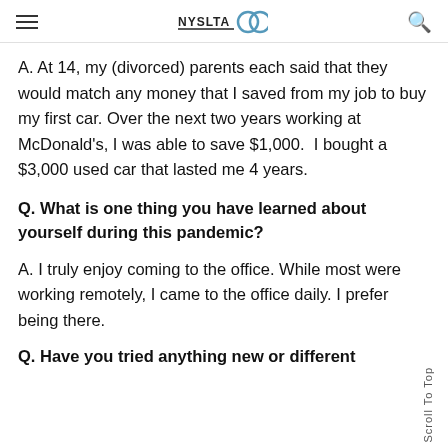NYSLTA 100 [logo]
A. At 14, my (divorced) parents each said that they would match any money that I saved from my job to buy my first car. Over the next two years working at McDonald's, I was able to save $1,000.  I bought a $3,000 used car that lasted me 4 years.
Q. What is one thing you have learned about yourself during this pandemic?
A. I truly enjoy coming to the office. While most were working remotely, I came to the office daily. I prefer being there.
Q. Have you tried anything new or different